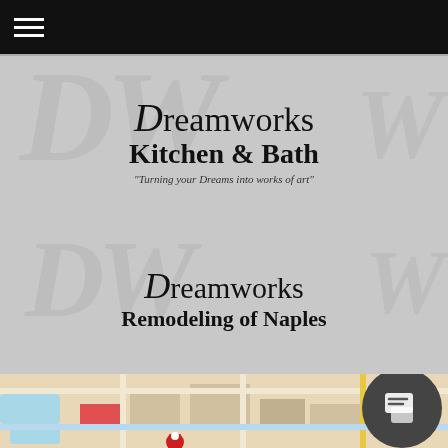[Figure (logo): Dreamworks Kitchen & Bath logo with large italic DW watermark and tagline 'Turning your Dreams into works of art']
[Figure (logo): Dreamworks Remodeling of Naples logo with large italic DW watermark]
[Figure (map): Street map showing location of Dreamworks in Naples, partially visible with a red location pin and a chat button overlay]